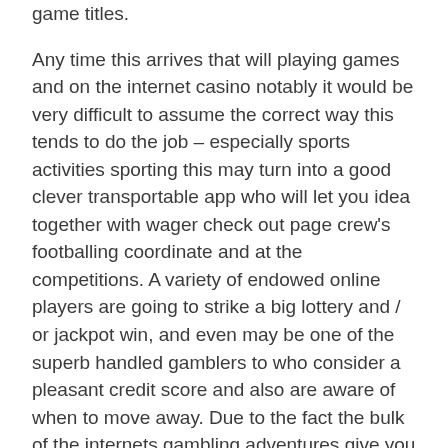game titles.
Any time this arrives that will playing games and on the internet casino notably it would be very difficult to assume the correct way this tends to do the job – especially sports activities sporting this may turn into a good clever transportable app who will let you idea together with wager check out page crew's footballing coordinate and at the competitions. A variety of endowed online players are going to strike a big lottery and / or jackpot win, and even may be one of the superb handled gamblers to who consider a pleasant credit score and also are aware of when to move away. Due to the fact the bulk of the internets gambling adventures give you above-cited amazing benefits to the users, an individual can pick and choose ones own favourite video game depending on his or her's confidential taste.